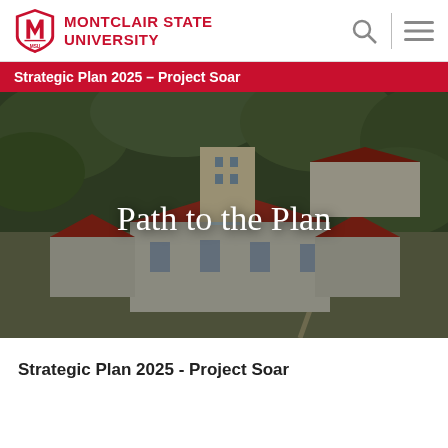MONTCLAIR STATE UNIVERSITY
Strategic Plan 2025 – Project Soar
[Figure (photo): Aerial drone photograph of Montclair State University campus showing red-roofed historic buildings, dormitories, green trees, and pathways with 'Path to the Plan' text overlay]
Path to the Plan
Strategic Plan 2025 - Project Soar